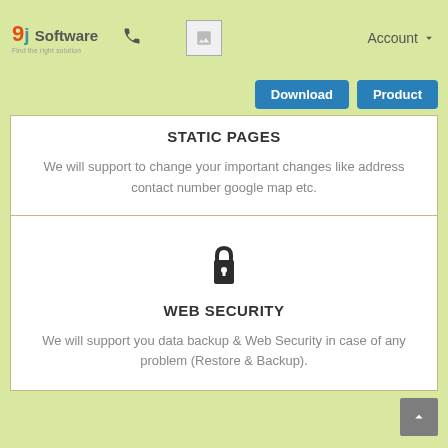9j Software — navbar with phone icon, image placeholder, Account dropdown, Download and Product buttons
STATIC PAGES
We will support to change your important changes like address contact number google map etc.
[Figure (illustration): Lock icon representing web security]
WEB SECURITY
We will support you data backup & Web Security in case of any problem (Restore & Backup).